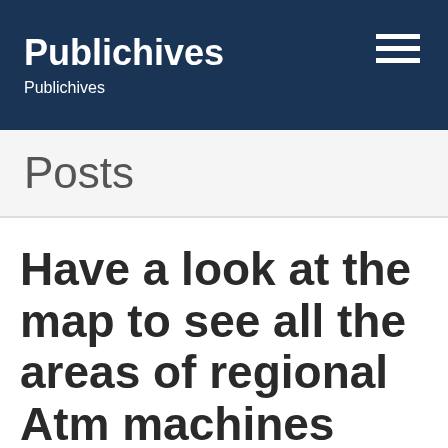Publichives
Publichives
Posts
Have a look at the map to see all the areas of regional Atm machines around you